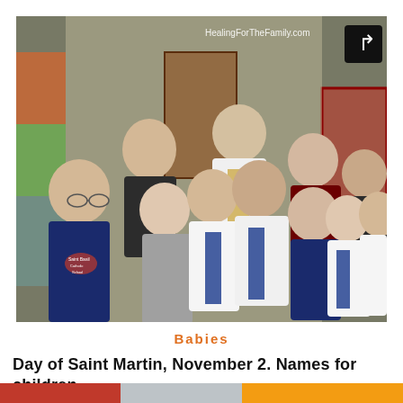[Figure (photo): Group photo of students in Catholic school uniforms (navy and plaid) with adults including a priest, taken in a school hallway. Watermark reads HealingForTheFamily.com with a share icon in the top right corner.]
Babies
Day of Saint Martin, November 2. Names for children